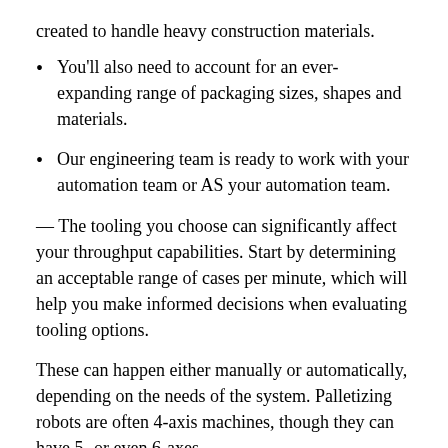created to handle heavy construction materials.
You'll also need to account for an ever-expanding range of packaging sizes, shapes and materials.
Our engineering team is ready to work with your automation team or AS your automation team.
— The tooling you choose can significantly affect your throughput capabilities. Start by determining an acceptable range of cases per minute, which will help you make informed decisions when evaluating tooling options.
These can happen either manually or automatically, depending on the needs of the system. Palletizing robots are often 4-axis machines, though they can have 5- or even 6-axes